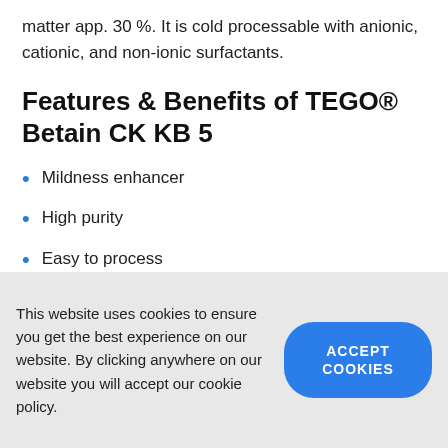matter app. 30 %. It is cold processable with anionic, cationic, and non-ionic surfactants.
Features & Benefits of TEGO® Betain CK KB 5
Mildness enhancer
High purity
Easy to process
This website uses cookies to ensure you get the best experience on our website. By clicking anywhere on our website you will accept our cookie policy.